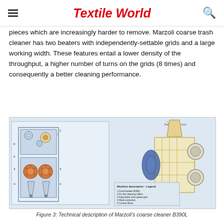Textile World
pieces which are increasingly harder to remove. Marzoli coarse trash cleaner has two beaters with independently-settable grids and a large working width. These features entail a lower density of the throughput, a higher number of turns on the grids (8 times) and consequently a better cleaning performance.
[Figure (engineering-diagram): Technical diagram of Marzoli coarse cleaner B390L showing a schematic front-view cross-section on the left with numbered components and a 3D rendered illustration on the right showing raw material flow into the machine with beaters and grids. A legend lists: 1 Dual beater B390L, 2 Do the cleaning rollers, 3 Adjustable slow-speed grid, 4 Moist extraction, 5 Coarse fibres.]
Figure 3: Technical description of Marzoli's coarse cleaner B390L